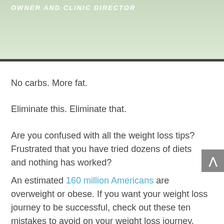OWNER AND CLINIC DIRECTOR
No carbs. More fat.
Eliminate this. Eliminate that.
Are you confused with all the weight loss tips? Frustrated that you have tried dozens of diets and nothing has worked?
An estimated 160 million Americans are overweight or obese. If you want your weight loss journey to be successful, check out these ten mistakes to avoid on your weight loss journey.